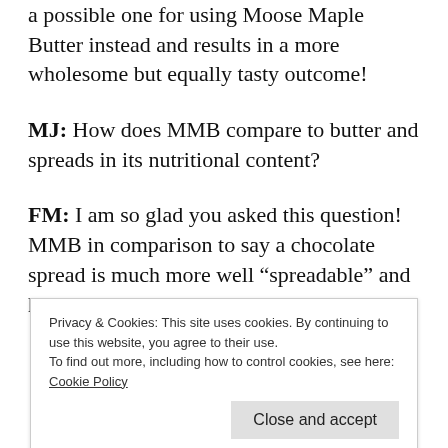a possible one for using Moose Maple Butter instead and results in a more wholesome but equally tasty outcome!
MJ: How does MMB compare to butter and spreads in its nutritional content?
FM: I am so glad you asked this question! MMB in comparison to say a chocolate spread is much more well "spreadable" and hence you use up much less than say a thick
Privacy & Cookies: This site uses cookies. By continuing to use this website, you agree to their use.
To find out more, including how to control cookies, see here:
Cookie Policy
Close and accept